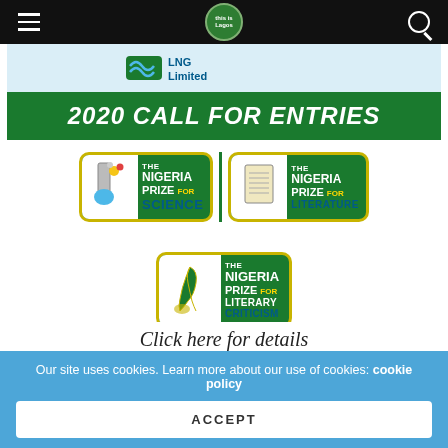Navigation bar with hamburger menu, site logo, and search icon
[Figure (illustration): NLNG Limited logo strip at top of banner]
2020 CALL FOR ENTRIES
[Figure (logo): The Nigeria Prize for Science logo badge with science flask icon]
[Figure (logo): The Nigeria Prize for Literature logo badge with book icon]
[Figure (logo): The Nigeria Prize for Literary Criticism logo badge with quill icon]
Click here for details
Our site uses cookies. Learn more about our use of cookies: cookie policy
ACCEPT